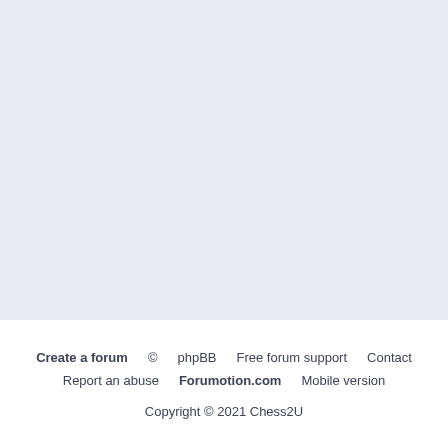Create a forum  ©  phpBB  Free forum support  Contact  Report an abuse  Forumotion.com  Mobile version  Copyright © 2021 Chess2U